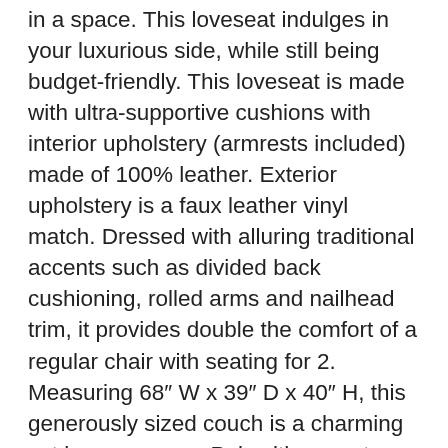in a space. This loveseat indulges in your luxurious side, while still being budget-friendly. This loveseat is made with ultra-supportive cushions with interior upholstery (armrests included) made of 100% leather. Exterior upholstery is a faux leather vinyl match. Dressed with alluring traditional accents such as divided back cushioning, rolled arms and nailhead trim, it provides double the comfort of a regular chair with seating for 2. Measuring 68″ W x 39″ D x 40″ H, this generously sized couch is a charming set in your space. Pair with accent pillows for extra elegance. Ready for instant enjoyment in your home. Fits through doorways 36″ or wider. Ashley Furniture goes the extra mile to package, protect and deliver your purchase in a timely manner. BUY WITH CONFIDENCE: Designed and manufactured by Ashley Furniture Industries. The trusted source for stylish furniture, lighting, rugs, accessories and mattresses